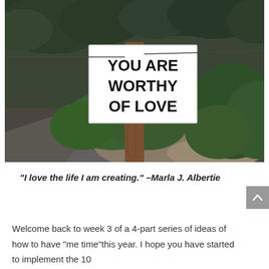[Figure (photo): Outdoor photograph of a wooden utility pole with a white sign attached reading 'YOU ARE WORTHY OF LOVE' in bold black text. Background shows a paved pathway, green shrubs, trees, and gravel landscaping.]
“I love the life I am creating.” –Marla J. Albertie
Welcome back to week 3 of a 4-part series of ideas of how to have “me time”this year. I hope you have started to implement the 10